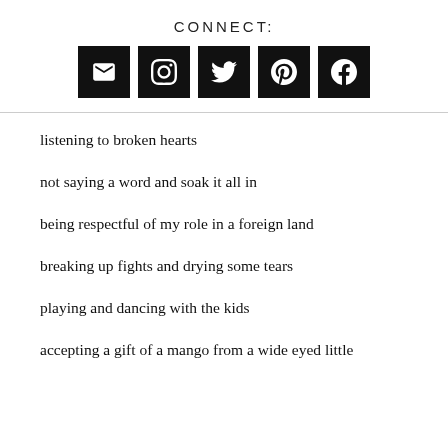CONNECT:
[Figure (infographic): Five black square social media icon buttons: email (envelope), Instagram, Twitter, Pinterest, Facebook]
listening to broken hearts
not saying a word and soak it all in
being respectful of my role in a foreign land
breaking up fights and drying some tears
playing and dancing with the kids
accepting a gift of a mango from a wide eyed little